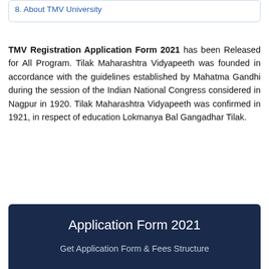8. About TMV University
TMV Registration Application Form 2021 has been Released for All Program. Tilak Maharashtra Vidyapeeth was founded in accordance with the guidelines established by Mahatma Gandhi during the session of the Indian National Congress considered in Nagpur in 1920. Tilak Maharashtra Vidyapeeth was confirmed in 1921, in respect of education Lokmanya Bal Gangadhar Tilak.
Application Form 2021
Get Application Form & Fees Structure